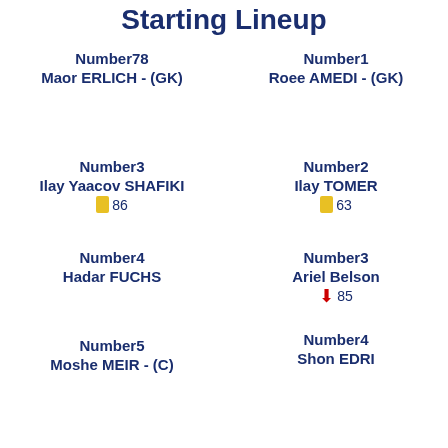Starting Lineup
Number78
Maor ERLICH - (GK)
Number1
Roee AMEDI - (GK)
Number3
Ilay Yaacov SHAFIKI
🟨 86
Number2
Ilay TOMER
🟨 63
Number4
Hadar FUCHS
Number3
Ariel Belson
↓ 85
Number5
Moshe MEIR - (C)
Number4
Shon EDRI